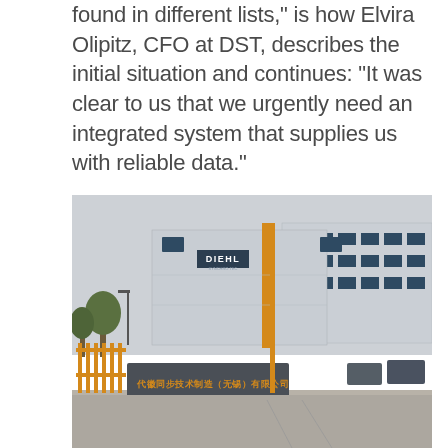found in different lists," is how Elvira Olipitz, CFO at DST, describes the initial situation and continues: "It was clear to us that we urgently need an integrated system that supplies us with reliable data."
[Figure (photo): Exterior photo of Diehl Synchro Tec Manufacturing Wuxi Co. Ltd facility in China. A modern grey industrial building with DIEHL branding sign, yellow gate bars and pillars, a grey stone monument sign with Chinese characters and English text reading 'Diehl Synchro Tec Manufacturing Wuxi Co. Ltd' in gold/yellow lettering. Trees visible on the left side.]